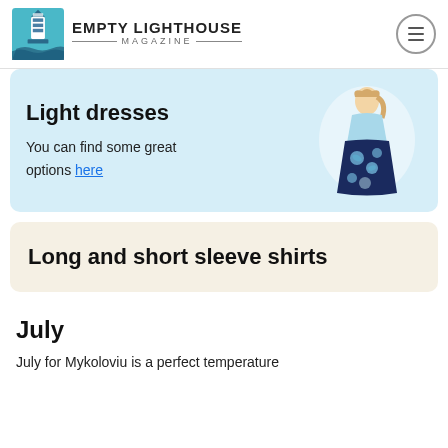EMPTY LIGHTHOUSE MAGAZINE
Light dresses
You can find some great options here
[Figure (photo): Woman wearing a floral maxi dress with light blue top and dark navy floral skirt]
Long and short sleeve shirts
July
July for Mykoloviu is a perfect temperature